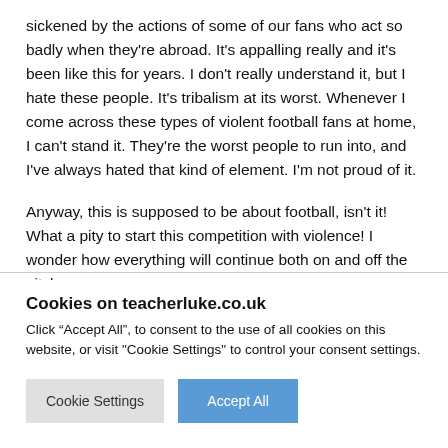sickened by the actions of some of our fans who act so badly when they're abroad. It's appalling really and it's been like this for years. I don't really understand it, but I hate these people. It's tribalism at its worst. Whenever I come across these types of violent football fans at home, I can't stand it. They're the worst people to run into, and I've always hated that kind of element. I'm not proud of it.
Anyway, this is supposed to be about football, isn't it! What a pity to start this competition with violence! I wonder how everything will continue both on and off the pitch.
Cookies on teacherluke.co.uk
Click “Accept All”, to consent to the use of all cookies on this website, or visit "Cookie Settings" to control your consent settings.